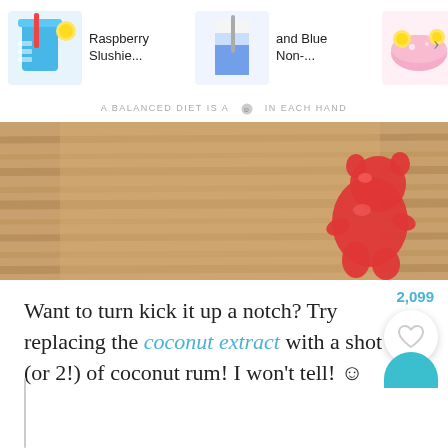[Figure (screenshot): Navigation bar with three food/drink thumbnails: Raspberry Slushie, and Blue Non-..., Sherbet Punch]
A BALANCED DIET IS A 🍪 IN EACH HAND
[Figure (photo): A wooden cutting board with a red gummy candy on it]
Want to turn kick it up a notch? Try replacing the coconut extract with a shot (or 2!) of coconut rum! I won't tell! ☺
2,099